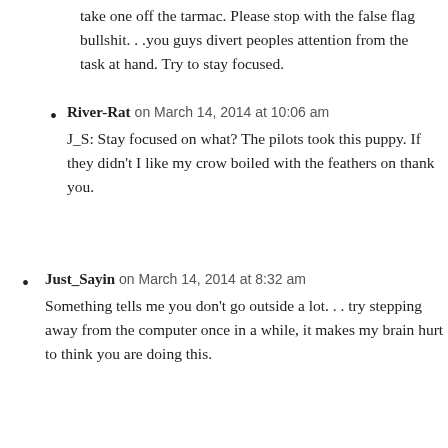take one off the tarmac. Please stop with the false flag bullshit. . .you guys divert peoples attention from the task at hand. Try to stay focused.
River-Rat on March 14, 2014 at 10:06 am
J_S: Stay focused on what? The pilots took this puppy. If they didn't I like my crow boiled with the feathers on thank you.
Just_Sayin on March 14, 2014 at 8:32 am
Something tells me you don't go outside a lot. . . try stepping away from the computer once in a while, it makes my brain hurt to think you are doing this.